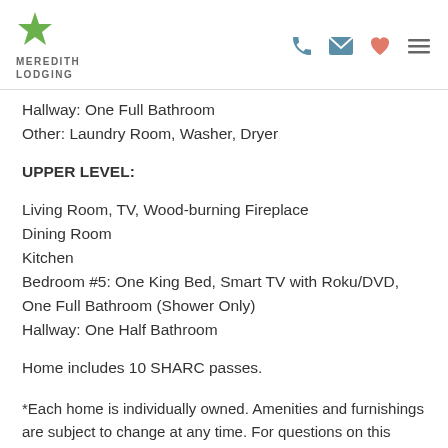MEREDITH LODGING [logo with phone, mail, heart, menu icons]
Hallway: One Full Bathroom
Other: Laundry Room, Washer, Dryer
UPPER LEVEL:
Living Room, TV, Wood-burning Fireplace
Dining Room
Kitchen
Bedroom #5: One King Bed, Smart TV with Roku/DVD, One Full Bathroom (Shower Only)
Hallway: One Half Bathroom
Home includes 10 SHARC passes.
*Each home is individually owned. Amenities and furnishings are subject to change at any time. For questions on this